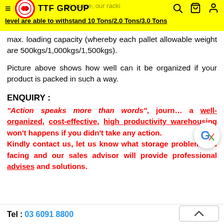TTF GROUP — navigation header with logo, hamburger menu, and icons. Overlay text: level are able to withstand 10 Tons/2.0 Tons/3.0 Tons
max. loading capacity (whereby each pallet allowable weight are 500kgs/1,000kgs/1,500kgs).
Picture above shows how well can it be organized if your product is packed in such a way.
ENQUIRY :
"Action speaks more than words", journey a well-organized, cost-effective, high productivity warehousing won't happens if you didn't take any action.
Kindly contact us, let us know what storage problem you facing and our sales advisor will provide professional advises and solutions.
Tel : 03 6091 8800